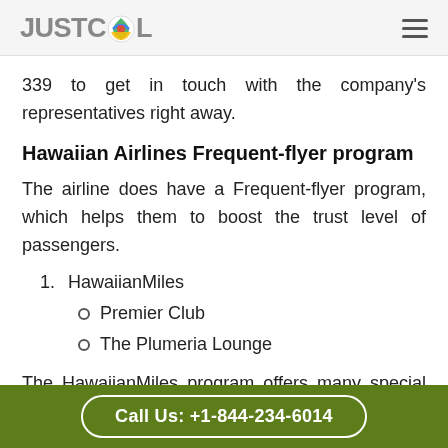JUSTCOL
339 to get in touch with the company's representatives right away.
Hawaiian Airlines Frequent-flyer program
The airline does have a Frequent-flyer program, which helps them to boost the trust level of passengers.
HawaiianMiles
Premier Club
The Plumeria Lounge
The HawaiianMiles program offers many special perks and helps passengers to save...
Call Us: +1-844-234-6014